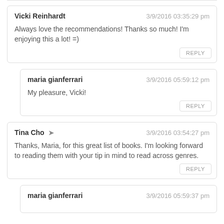Vicki Reinhardt — 3/9/2016 03:35:29 pm — Always love the recommendations! Thanks so much! I'm enjoying this a lot! =)
maria gianferrari — 3/9/2016 05:59:12 pm — My pleasure, Vicki!
Tina Cho → — 3/9/2016 03:54:27 pm — Thanks, Maria, for this great list of books. I'm looking forward to reading them with your tip in mind to read across genres.
maria gianferrari — 3/9/2016 05:59:37 pm